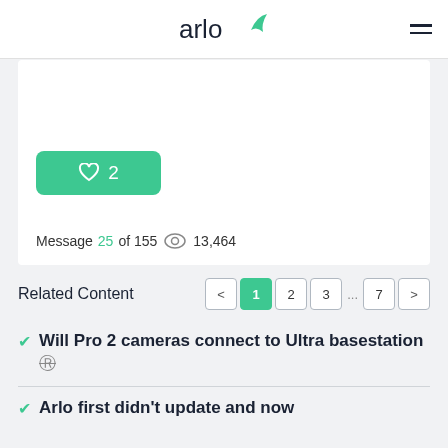arlo
[Figure (screenshot): Like button showing heart icon with count 2, teal background]
Message 25 of 155  13,464
Related Content
Will Pro 2 cameras connect to Ultra basestation
Arlo first didn't update and now